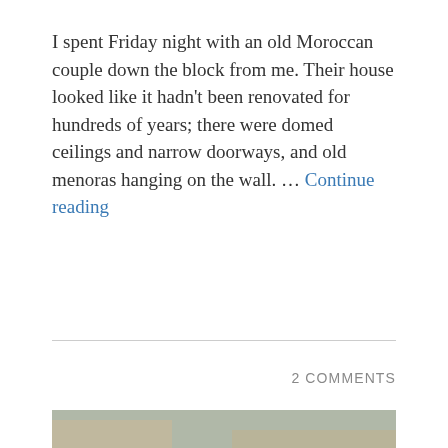I spent Friday night with an old Moroccan couple down the block from me. Their house looked like it hadn't been renovated for hundreds of years; there were domed ceilings and narrow doorways, and old menoras hanging on the wall. … Continue reading
2 COMMENTS
[Figure (photo): Photograph of a large concrete wall with Hebrew graffiti text and colorful murals at the base. Trees line the front of the wall. Barbed wire visible at the top. Urban setting with buildings visible behind.]